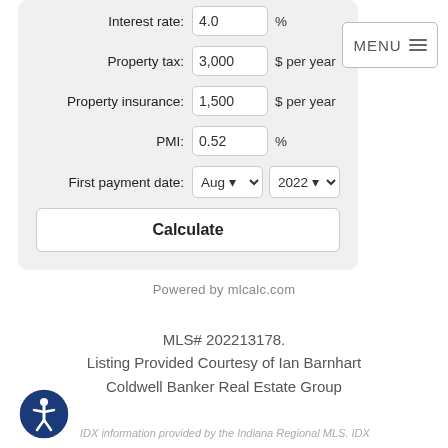[Figure (screenshot): Mortgage calculator form with fields for Interest rate (4.0 %), Property tax (3,000 $ per year), Property insurance (1,500 $ per year), PMI (0.52 %), First payment date (Aug 2022), and a Calculate button]
[Figure (other): MENU button with hamburger icon in top right corner]
Powered by mlcalc.com
MLS# 202213178.
Listing Provided Courtesy of Ian Barnhart
Coldwell Banker Real Estate Group
[Figure (logo): Blue accessibility icon (person in circle)]
IDX information provided by the Indiana Regional MLS. IDX